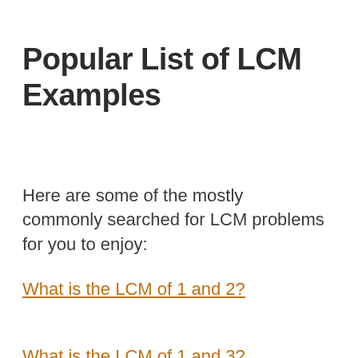Popular List of LCM Examples
Here are some of the mostly commonly searched for LCM problems for you to enjoy:
What is the LCM of 1 and 2?
What is the LCM of 1 and 3?
What is the LCM of 1 and 4?
What is the LCM of 1 and 5?